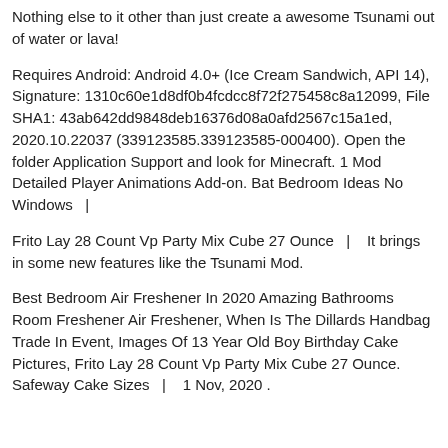Nothing else to it other than just create a awesome Tsunami out of water or lava!
Requires Android: Android 4.0+ (Ice Cream Sandwich, API 14), Signature: 1310c60e1d8df0b4fcdcc8f72f275458c8a12099, File SHA1: 43ab642dd9848deb16376d08a0afd2567c15a1ed, 2020.10.22037 (339123585.339123585-000400). Open the folder Application Support and look for Minecraft. 1 Mod Detailed Player Animations Add-on. Bat Bedroom Ideas No Windows  |
Frito Lay 28 Count Vp Party Mix Cube 27 Ounce  |   It brings in some new features like the Tsunami Mod.
Best Bedroom Air Freshener In 2020 Amazing Bathrooms Room Freshener Air Freshener, When Is The Dillards Handbag Trade In Event, Images Of 13 Year Old Boy Birthday Cake Pictures, Frito Lay 28 Count Vp Party Mix Cube 27 Ounce. Safeway Cake Sizes  |   1 Nov, 2020 .